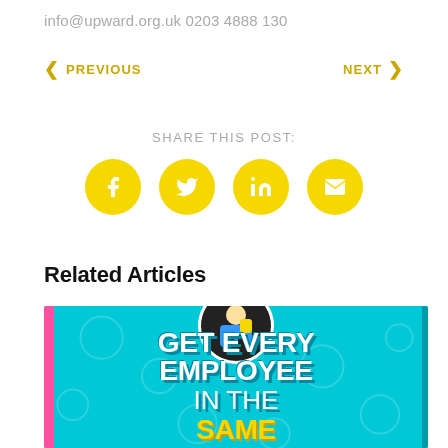info@upward.org.uk 0203 4888 130
< PREVIOUS    NEXT >
SHARE THIS POST:
[Figure (infographic): Four yellow circular social share buttons: Facebook, Twitter, LinkedIn, Email]
Related Articles
[Figure (illustration): Promotional graphic on cyan background with pink left border, decorative circles, a character in a dark circle at top, and large bold white text reading GET EVERY EMPLOYEE IN THE SAME (partially visible), with yellow text below]